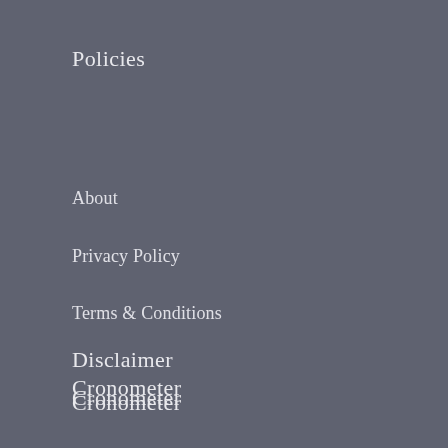Policies
About
Privacy Policy
Terms & Conditions
Cronometer
Disclaimer